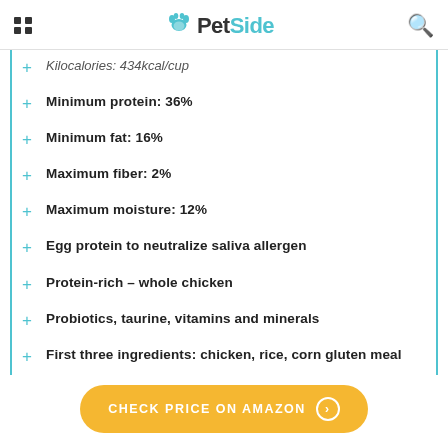PetSide
Kilocalories: 434kcal/cup
Minimum protein: 36%
Minimum fat: 16%
Maximum fiber: 2%
Maximum moisture: 12%
Egg protein to neutralize saliva allergen
Protein-rich – whole chicken
Probiotics, taurine, vitamins and minerals
First three ingredients: chicken, rice, corn gluten meal
CHECK PRICE ON AMAZON